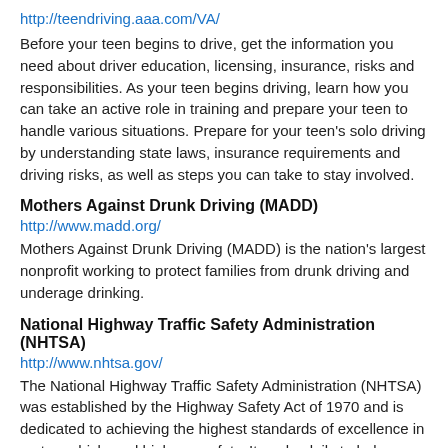http://teendriving.aaa.com/VA/
Before your teen begins to drive, get the information you need about driver education, licensing, insurance, risks and responsibilities. As your teen begins driving, learn how you can take an active role in training and prepare your teen to handle various situations. Prepare for your teen's solo driving by understanding state laws, insurance requirements and driving risks, as well as steps you can take to stay involved.
Mothers Against Drunk Driving (MADD)
http://www.madd.org/
Mothers Against Drunk Driving (MADD) is the nation's largest nonprofit working to protect families from drunk driving and underage drinking.
National Highway Traffic Safety Administration (NHTSA)
http://www.nhtsa.gov/
The National Highway Traffic Safety Administration (NHTSA) was established by the Highway Safety Act of 1970 and is dedicated to achieving the highest standards of excellence in motor vehicle and highway safety. It works daily to help prevent crashes and their attendant costs, both human and financial.
National Organizations for Youth Safety (NOYS)
http://www.noys.org/